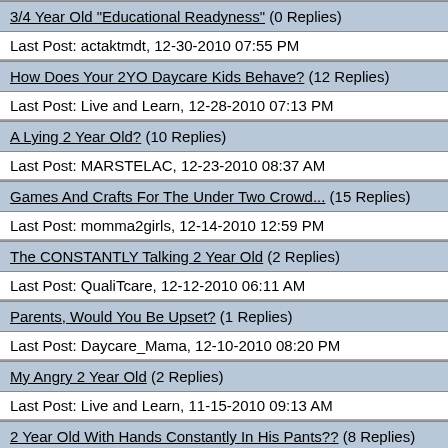3/4 Year Old "Educational Readyness" (0 Replies)
Last Post: actaktmdt, 12-30-2010 07:55 PM
How Does Your 2YO Daycare Kids Behave? (12 Replies)
Last Post: Live and Learn, 12-28-2010 07:13 PM
A Lying 2 Year Old? (10 Replies)
Last Post: MARSTELAC, 12-23-2010 08:37 AM
Games And Crafts For The Under Two Crowd... (15 Replies)
Last Post: momma2girls, 12-14-2010 12:59 PM
The CONSTANTLY Talking 2 Year Old (2 Replies)
Last Post: QualiTcare, 12-12-2010 06:11 AM
Parents, Would You Be Upset? (1 Replies)
Last Post: Daycare_Mama, 12-10-2010 08:20 PM
My Angry 2 Year Old (2 Replies)
Last Post: Live and Learn, 11-15-2010 09:13 AM
2 Year Old With Hands Constantly In His Pants?? (8 Replies)
Last Post: SandeeAR, 10-26-2010 04:10 PM
Inside Voices Mean NOTHING to 2 Year Olds! (2 Replies)
Last Post: SunflowerMama, 10-26-2010 08:36 AM